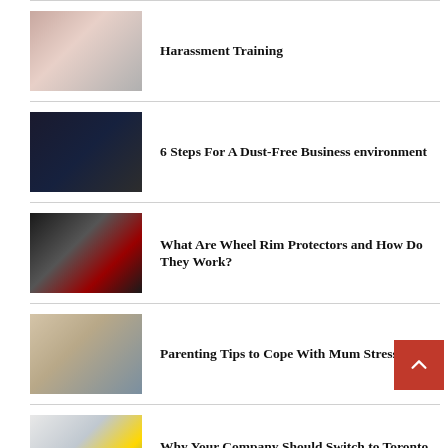Harassment Training
6 Steps For A Dust-Free Business environment
What Are Wheel Rim Protectors and How Do They Work?
Parenting Tips to Cope With Mum Stress
Why Your Company Should Switch to Toronto Commercial Cleaning Services
The Importance Of Waste Management